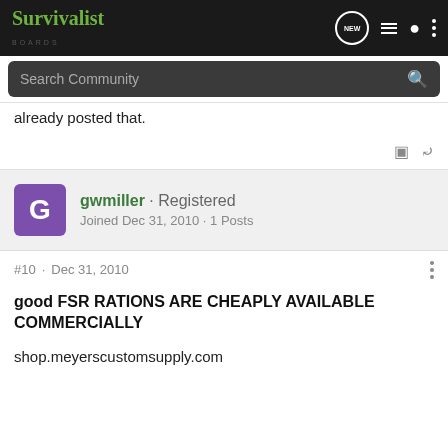Survivalist Boards — Search Community navigation bar
already posted that.
gwmiller · Registered
Joined Dec 31, 2010 · 1 Posts
#10 · Dec 31, 2010
good FSR RATIONS ARE CHEAPLY AVAILABLE COMMERCIALLY
shop.meyerscustomsupply.com